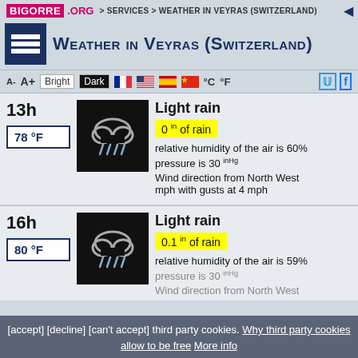BIGORRE.ORG > Services > Weather in Veyras (Switzerland)
Weather in Veyras (Switzerland)
A- A+ Bright Dark °C °F
13h
78 °F
Light rain
0 in of rain
relative humidity of the air is 60%
pressure is 30 inHg
Wind direction from North West mph with gusts at 4 mph
16h
80 °F
Light rain
0.1 in of rain
relative humidity of the air is 59%
pressure is 30 inHg
Wind direction from North West
[accept] [decline] [can't accept] third party cookies. Why third party cookies allow to be free More info